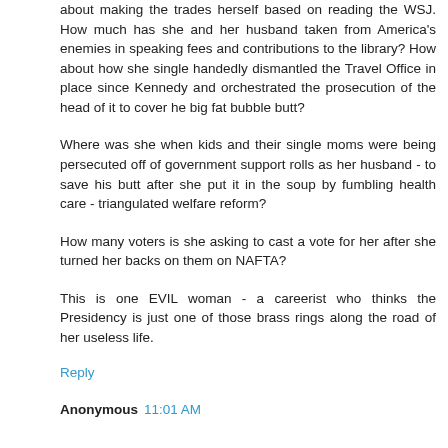about making the trades herself based on reading the WSJ. How much has she and her husband taken from America's enemies in speaking fees and contributions to the library? How about how she single handedly dismantled the Travel Office in place since Kennedy and orchestrated the prosecution of the head of it to cover he big fat bubble butt?
Where was she when kids and their single moms were being persecuted off of government support rolls as her husband - to save his butt after she put it in the soup by fumbling health care - triangulated welfare reform?
How many voters is she asking to cast a vote for her after she turned her backs on them on NAFTA?
This is one EVIL woman - a careerist who thinks the Presidency is just one of those brass rings along the road of her useless life.
Reply
Anonymous 11:01 AM